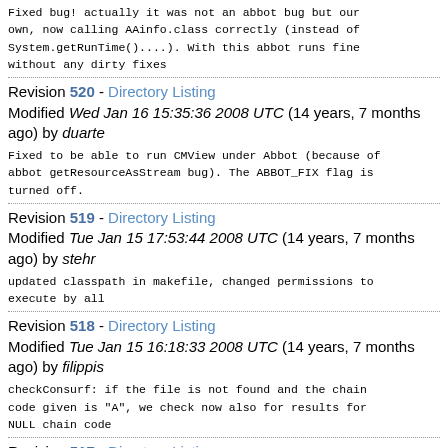Fixed bug! actually it was not an abbot bug but our own, now calling AAinfo.class correctly (instead of System.getRunTime()....). With this abbot runs fine without any dirty fixes
Revision 520 - Directory Listing
Modified Wed Jan 16 15:35:36 2008 UTC (14 years, 7 months ago) by duarte
Fixed to be able to run CMView under Abbot (because of abbot getResourceAsStream bug). The ABBOT_FIX flag is turned off.
Revision 519 - Directory Listing
Modified Tue Jan 15 17:53:44 2008 UTC (14 years, 7 months ago) by stehr
updated classpath in makefile, changed permissions to execute by all
Revision 518 - Directory Listing
Modified Tue Jan 15 16:18:33 2008 UTC (14 years, 7 months ago) by filippis
checkConsurf: if the file is not found and the chain code given is "A", we check now also for results for NULL chain code
Revision 517 - Directory Listing